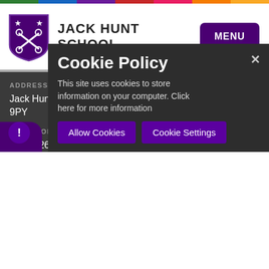JACK HUNT SCHOOL
ADDRESS
Jack Hunt School, Bradwell Road, Peterborough PE3 9PY
TELEPHONE
01733 263526
EMAIL
info@jhs.pkat.co.uk
Cookie Policy
This site uses cookies to store information on your computer. Click here for more information